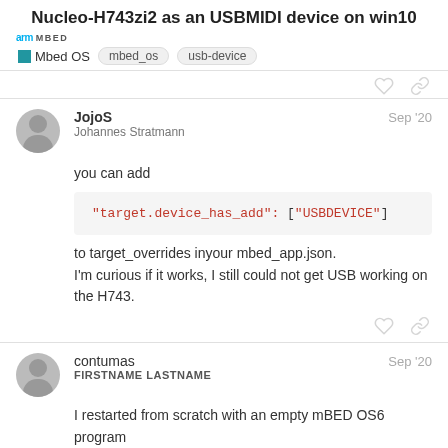Nucleo-H743zi2 as an USBMIDI device on win10
arm MBED | Mbed OS | mbed_os | usb-device
JojoS Johannes Stratmann Sep '20
you can add
to target_overrides inyour mbed_app.json.
I'm curious if it works, I still could not get USB working on the H743.
contumas FIRSTNAME LASTNAME Sep '20
I restarted from scratch with an empty mBED OS6 program